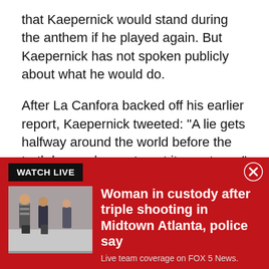that Kaepernick would stand during the anthem if he played again. But Kaepernick has not spoken publicly about what he would do.
After La Canfora backed off his earlier report, Kaepernick tweeted: "A lie gets halfway around the world before the truth has a chance to get its pants on," attributing the quote to Winston Churchill even though some scholars have said the quote was not said by the former British prime minister.
According to CBS, La Canfora sat down with
[Figure (infographic): Red breaking news banner with WATCH LIVE label, a photo of people in what appears to be an outdoor/transit setting, headline 'Woman in custody after triple shooting in Midtown Atlanta, police say', and subtext 'Live team coverage on FOX 5 News.' A close (X) button appears in the top right corner.]